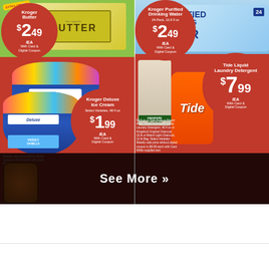[Figure (photo): Kroger grocery store advertisement showing four products: Kroger Butter ($2.49/EA), Kroger Deluxe Ice Cream ($1.99/EA), Kroger Purified Drinking Water ($2.49/EA), and Tide Liquid Laundry Detergent ($7.99/EA), all with Card & Digital Coupon. Bottom overlay shows 'See More >>' text.]
Kroger Butter $2.49 /EA With Card & Digital Coupon
4-Pack or Ore-Ida Frozen Potatoes, 14-32 oz, Select Varieties
Weekly sale price without digital coupon is up to $3.99 each with Card. While supplies last.
Kroger Deluxe Ice Cream Select Varieties, 48 fl oz $1.99 /EA With Card & Digital Coupon
Weekly sale price without digital coupon is $3.29 each with Card. While supplies last.
Kroger Purified Drinking Water 24-Pack, 16.9 fl oz $2.49 /EA With Card & Digital Coupon
Weekly sale price without digital coupon is $3.49 each with Card. While supplies last.
Tide Liquid Laundry Detergent $7.99 /EA With Card & Digital Coupon
69 fl oz or Tide Pods or Power Pods, 18-31 ct or Dreft Liquid Laundry Detergent, 46 fl oz or Kingsford Original Charcoal, 16 lb or Match Light Charcoal, 12 lb Bag. Select Varieties
Weekly sale price without digital coupon is $9.99 each with Card. While supplies last.
See More »